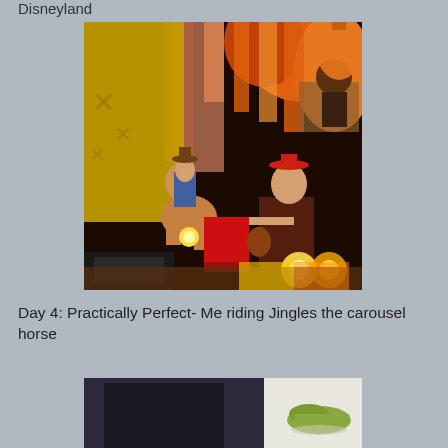Disneyland
[Figure (photo): Toy Story ride scene at Disneyland showing Woody on Bullseye and a female character playing guitar, with colorful orange and red backdrop decorations]
Day 4: Practically Perfect- Me riding Jingles the carousel horse
[Figure (photo): Partial photo showing a person riding a carousel horse and what appears to be a shoe or green object on a white surface]